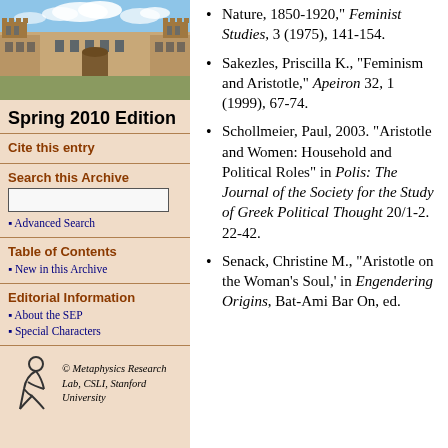[Figure (photo): Photograph of a stone university building (quadrangle) with blue sky and clouds]
Spring 2010 Edition
Cite this entry
Search this Archive
Advanced Search
Table of Contents
New in this Archive
Editorial Information
About the SEP
Special Characters
[Figure (logo): Metaphysics Research Lab logo — stylized figure]
© Metaphysics Research Lab, CSLI, Stanford University
Nature, 1850-1920," Feminist Studies, 3 (1975), 141-154.
Sakezles, Priscilla K., "Feminism and Aristotle," Apeiron 32, 1 (1999), 67-74.
Schollmeier, Paul, 2003. "Aristotle and Women: Household and Political Roles" in Polis: The Journal of the Society for the Study of Greek Political Thought 20/1-2. 22-42.
Senack, Christine M., "Aristotle on the Woman's Soul,' in Engendering Origins, Bat-Ami Bar On, ed.